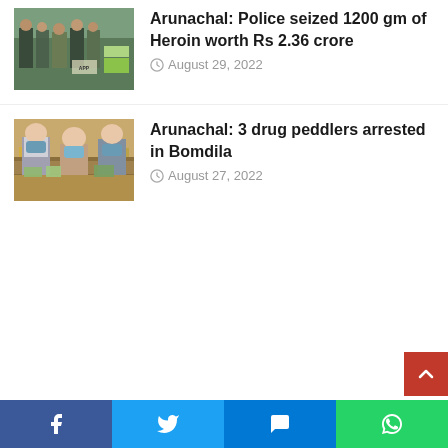[Figure (photo): Group of people including police/army officials with boxes outdoors]
Arunachal: Police seized 1200 gm of Heroin worth Rs 2.36 crore
August 29, 2022
[Figure (photo): Three masked individuals posing for arrest photo with confiscated items]
Arunachal: 3 drug peddlers arrested in Bomdila
August 27, 2022